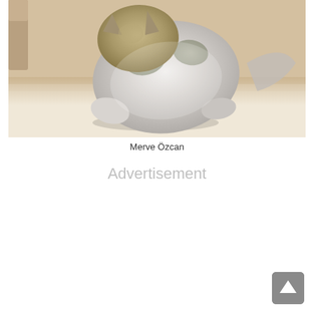[Figure (photo): A calico/tabby cat standing or playing on a light-colored floor, with furniture visible in the background. The cat appears to be in motion, with white, gray, and tan/brown markings.]
Merve Özcan
Advertisement